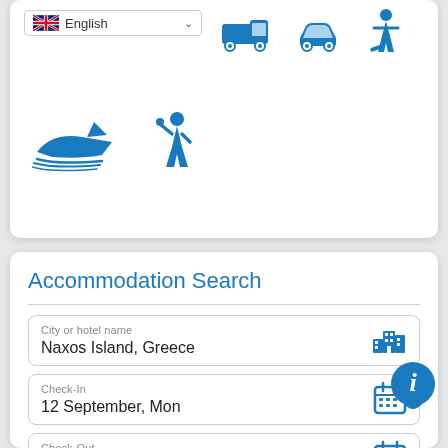[Figure (screenshot): Top section of a travel/tourism web application showing a language selector (English with UK flag) and blue travel mode icons: van/truck, car, surfer person, speedboat, and tour guide person icons]
Accommodation Search
City or hotel name
Naxos Island, Greece
Check-In
12 September, Mon
Check-Out
19 September, Mon
[Figure (illustration): Blue circular info (i) chat bubble icon]